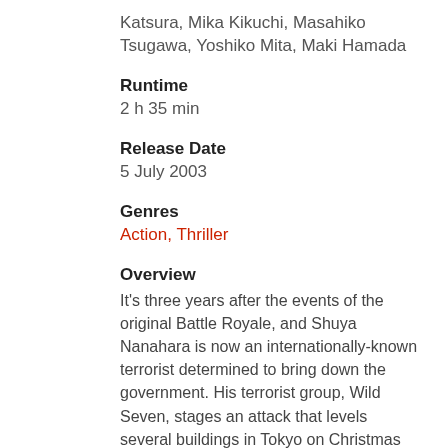Katsura, Mika Kikuchi, Masahiko Tsugawa, Yoshiko Mita, Maki Hamada
Runtime
2 h 35 min
Release Date
5 July 2003
Genres
Action, Thriller
Overview
It's three years after the events of the original Battle Royale, and Shuya Nanahara is now an internationally-known terrorist determined to bring down the government. His terrorist group, Wild Seven, stages an attack that levels several buildings in Tokyo on Christmas Day, killing 8000 people. In order for the government to study the benefits of "teamwork", the new students work in pairs, with their collars electronically linked so that if one of them is killed, the other dies as well. They must kill Nanahara in three days - or die.